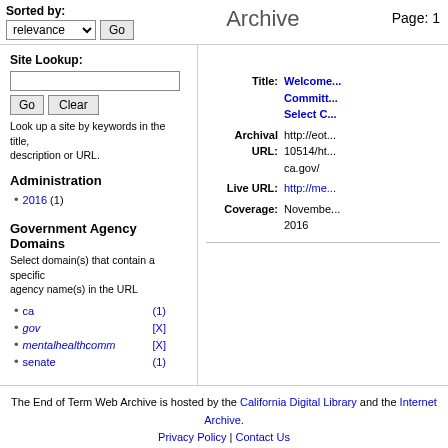Sorted by: relevance Go | Archive | Page: 1
Site Lookup:
Look up a site by keywords in the title, description or URL.
Administration
2016 (1)
Government Agency Domains
Select domain(s) that contain a specific agency name(s) in the URL
ca (1)
gov [X]
mentalhealthcomm [X]
senate (1)
Title: Welcome... Committ... Select C...
Archival URL: http://eot...10514/ht...ca.gov/
Live URL: http://me...
Coverage: November... 2016
The End of Term Web Archive is hosted by the California Digital Library and the Internet Archive. Privacy Policy | Contact Us